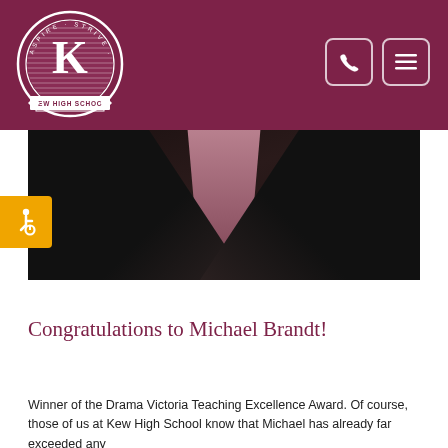Kew High School
[Figure (logo): Kew High School circular crest logo with K monogram, text ASPIRE STRIVE ACHIEVE and KEW HIGH SCHOOL on white background with dark outline]
[Figure (photo): Close-up photo of a person wearing a dark leather or vinyl jacket with pink/mauve top visible at neckline, dark and moody lighting]
Congratulations to Michael Brandt!
Winner of the Drama Victoria Teaching Excellence Award. Of course, those of us at Kew High School know that Michael has already far exceeded any...